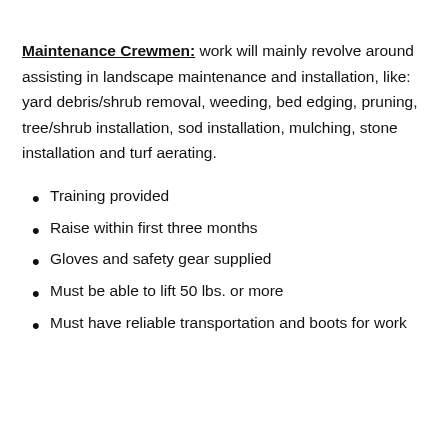…
Maintenance Crewmen: work will mainly revolve around assisting in landscape maintenance and installation, like: yard debris/shrub removal, weeding, bed edging, pruning, tree/shrub installation, sod installation, mulching, stone installation and turf aerating.
Training provided
Raise within first three months
Gloves and safety gear supplied
Must be able to lift 50 lbs. or more
Must have reliable transportation and boots for work